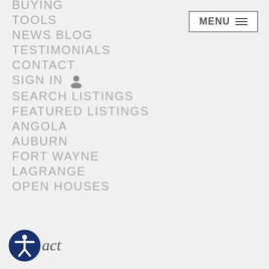BUYING
TOOLS
NEWS BLOG
TESTIMONIALS
CONTACT
SIGN IN
SEARCH LISTINGS
FEATURED LISTINGS
ANGOLA
AUBURN
FORT WAYNE
LAGRANGE
OPEN HOUSES
MENU
act